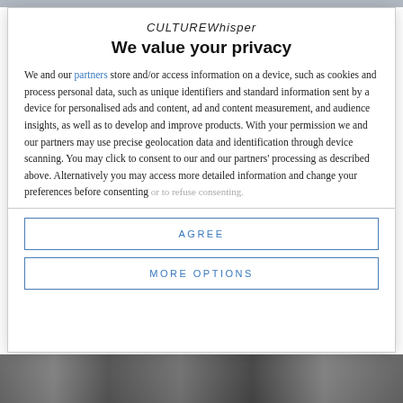CULTURE Whisper
We value your privacy
We and our partners store and/or access information on a device, such as cookies and process personal data, such as unique identifiers and standard information sent by a device for personalised ads and content, ad and content measurement, and audience insights, as well as to develop and improve products. With your permission we and our partners may use precise geolocation data and identification through device scanning. You may click to consent to our and our partners' processing as described above. Alternatively you may access more detailed information and change your preferences before consenting or to refuse consenting.
AGREE
MORE OPTIONS
[Figure (photo): Bottom portion of a page partially visible beneath the modal dialog, showing a dark photograph]